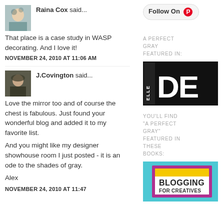Raina Cox said... That place is a case study in WASP decorating. And I love it!
NOVEMBER 24, 2010 AT 11:06 AM
J.Covington said... Love the mirror too and of course the chest is fabulous. Just found your wonderful blog and added it to my favorite list. And you might like my designer showhouse room I just posted - it is an ode to the shades of gray. Alex
NOVEMBER 24, 2010 AT 11:47
[Figure (logo): Follow On Pinterest button]
A PERFECT GRAY FEATURED IN:
[Figure (logo): Elle Decor logo - black background with white ELLE and DEC text]
YOU'LL FIND "A PERFECT GRAY" FEATURED IN THESE BOOKS:
[Figure (illustration): Blogging For Creatives book cover]